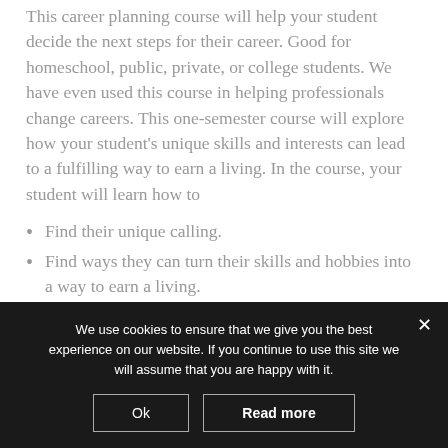This career planning course will help your student decide the next steps for their career. Good for homeschool, public, private, or college students. We have even used this course in helping professionals change careers. This one-semester course will explore how your student's unique skills and interests can lead to a fulfilling way to earn a living. In the course, your student will learn how to
Find their unique calling.
Find ways they can turn their skills and hobbies into a way to earn a living.
We use cookies to ensure that we give you the best experience on our website. If you continue to use this site we will assume that you are happy with it.